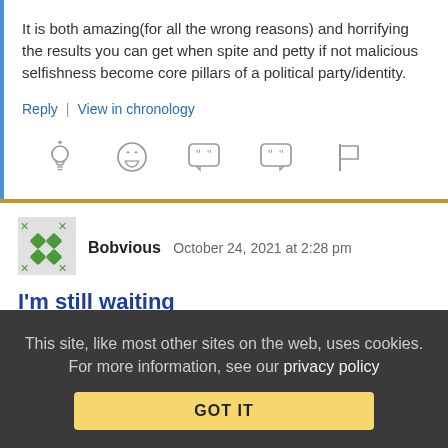It is both amazing(for all the wrong reasons) and horrifying the results you can get when spite and petty if not malicious selfishness become core pillars of a political party/identity.
Reply | View in chronology
[Figure (illustration): Row of 5 reaction/action icons: lightbulb, laughing face, open quote bubble, close quote bubble, flag]
[Figure (illustration): User avatar with green diamond pattern and X marks in green/yellow on grey background]
Bobvious   October 24, 2021 at 2:28 pm
I'm still waiting
This site, like most other sites on the web, uses cookies. For more information, see our privacy policy
GOT IT